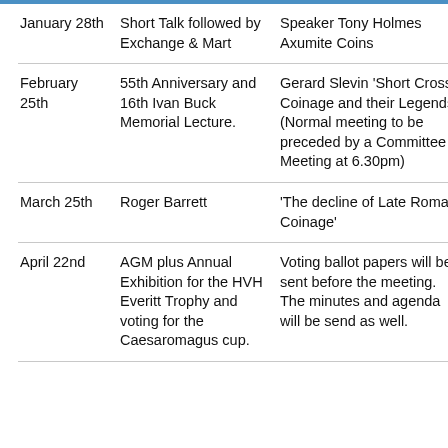| January 28th | Short Talk followed by Exchange & Mart | Speaker Tony Holmes Axumite Coins |
| February 25th | 55th Anniversary and 16th Ivan Buck Memorial Lecture. | Gerard Slevin ‘Short Cross Coinage and their Legends’ (Normal meeting to be preceded by a Committee Meeting at 6.30pm) |
| March 25th | Roger Barrett | ‘The decline of Late Roman Coinage’ |
| April 22nd | AGM plus Annual Exhibition for the HVH Everitt Trophy and voting for the Caesaromagus cup. | Voting ballot papers will be sent before the meeting. The minutes and agenda will be send as well. |